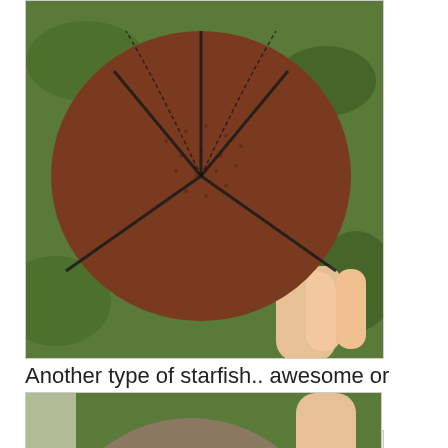[Figure (photo): Close-up photo of a cushion starfish held in a hand, viewed from above showing the top surface with dark brown/reddish rough textured skin and dark lines radiating from center forming a star pattern, surrounded by green foliage background.]
Another type of starfish.. awesome or not.. The skin was rough too..
[Figure (photo): Close-up photo of a cushion starfish (underside or top) held in a hand, showing a rounded brownish-grey rough textured surface with darker brown markings and a wet/shiny appearance, with green foliage in background.]